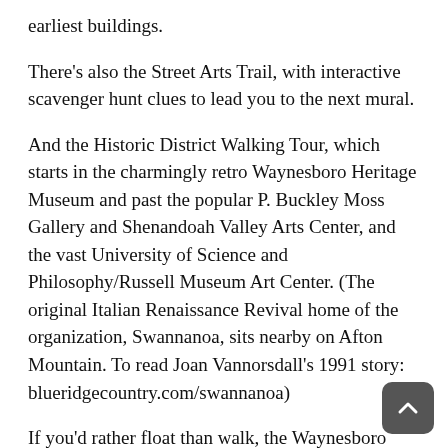earliest buildings.
There's also the Street Arts Trail, with interactive scavenger hunt clues to lead you to the next mural.
And the Historic District Walking Tour, which starts in the charmingly retro Waynesboro Heritage Museum and past the popular P. Buckley Moss Gallery and Shenandoah Valley Arts Center, and the vast University of Science and Philosophy/Russell Museum Art Center. (The original Italian Renaissance Revival home of the organization, Swannanoa, sits nearby on Afton Mountain. To read Joan Vannorsdall's 1991 story: blueridgecountry.com/swannanoa)
If you'd rather float than walk, the Waynesboro Water Trail takes you through town on the South River, giving you a glimpse of the city's industrial past as well as its present commitment to clean and open space by linking five parks.